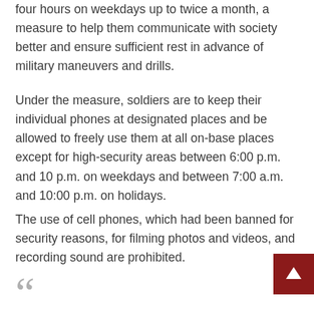four hours on weekdays up to twice a month, a measure to help them communicate with society better and ensure sufficient rest in advance of military maneuvers and drills.
Under the measure, soldiers are to keep their individual phones at designated places and be allowed to freely use them at all on-base places except for high-security areas between 6:00 p.m. and 10 p.m. on weekdays and between 7:00 a.m. and 10:00 p.m. on holidays.
The use of cell phones, which had been banned for security reasons, for filming photos and videos, and recording sound are prohibited.